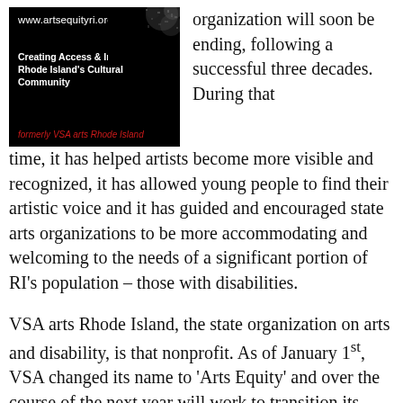[Figure (logo): Arts Equity RI logo: black background with www.artsequityri.org in white, tagline 'Creating Access & Inclusion in Rhode Island’s Cultural Community' in white bold, 'formerly VSA arts Rhode Island' in red italic, and a splash/texture image in upper right corner]
organization will soon be ending, following a successful three decades.  During that time, it has helped artists become more visible and recognized, it has allowed young people to find their artistic voice and it has guided and encouraged state arts organizations to be more accommodating and welcoming to the needs of a significant portion of RI’s population – those with disabilities.
VSA arts Rhode Island, the state organization on arts and disability, is that nonprofit. As of January 1st, VSA changed its name to ‘Arts Equity’ and over the course of the next year will work to transition its critical arts programming to other like-minded organizations. The change in name and affiliation